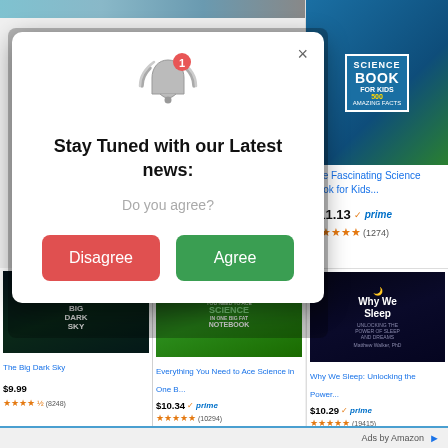[Figure (screenshot): Amazon product listing page showing books with a browser notification popup overlay. The popup asks 'Stay Tuned with our Latest news: Do you agree?' with Disagree (red) and Agree (green) buttons. Background shows book listings including The Fascinating Science Book for Kids, The Big Dark Sky, Everything You Need to Ace Science in One Big Fat Notebook, and Why We Sleep.]
Stay Tuned with our Latest news:
Do you agree?
Disagree
Agree
The Fascinating Science Book for Kids...
$11.13 prime (1274)
The Big Dark Sky
$9.99 (8248)
Everything You Need to Ace Science in One B...
$10.34 prime (10294)
Why We Sleep: Unlocking the Power...
$10.29 prime (19415)
Ads by Amazon